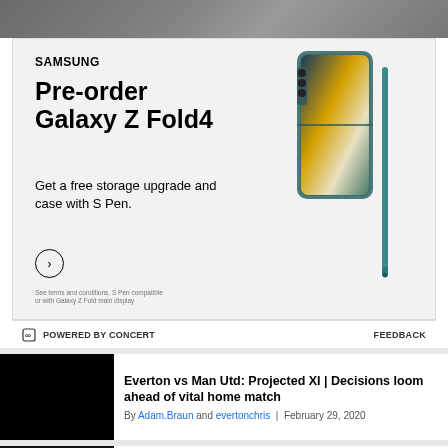[Figure (photo): Top portion of an image, partially cropped at the top of the page]
[Figure (photo): Samsung advertisement for Galaxy Z Fold4. Text reads: SAMSUNG, Pre-order Galaxy Z Fold4, Get a free storage upgrade and case with S Pen. Arrow button. Fine print disclaimer. Image of Galaxy Z Fold4 phone with S Pen.]
POWERED BY CONCERT    FEEDBACK
Everton vs Man Utd: Projected XI | Decisions loom ahead of vital home match
By Adam.Braun and evertonchris  |  February 29, 2020
Everton at Arsenal: Match Preview | Can the Toffees do more with the...